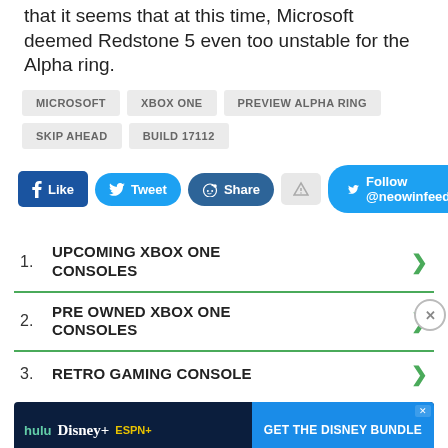that it seems that at this time, Microsoft deemed Redstone 5 even too unstable for the Alpha ring.
MICROSOFT
XBOX ONE
PREVIEW ALPHA RING
SKIP AHEAD
BUILD 17112
[Figure (infographic): Social sharing buttons: Facebook Like, Twitter Tweet, Reddit Share, alert button, and Twitter Follow @neowinfeed button]
1. UPCOMING XBOX ONE CONSOLES
2. PRE OWNED XBOX ONE CONSOLES
3. RETRO GAMING CONSOLE
[Figure (infographic): Disney Bundle advertisement banner with Hulu, Disney+, ESPN+ logos and GET THE DISNEY BUNDLE call to action]